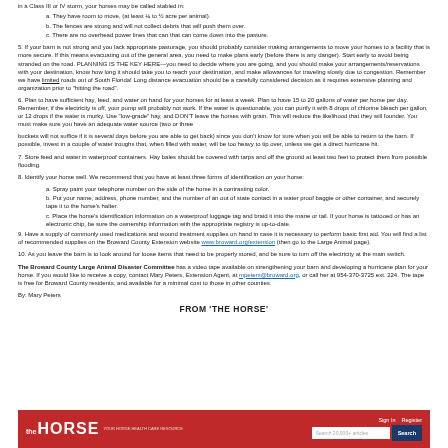in a Class III or IV storm, your horses may be called stabled in:
a. They have room to move, (at least ¼ to ½ acre per animal).
b. The fences are strong and will not collect debris that will push them over.
c. There are no overhead power lines that can that can come down into the pasture.
5. If your barn is not strong and you lack appropriate pasturage, you should probably consider making arrangements to move your horses to a facility that is more secure. If this means evacuating out of the general area, you need to make plans early (before there is any danger). Start early to avoid being stranded on the road. PLANNING IS THE KEY HERE—you need to decide where you are going, and you should make your arrangements/reservations with your destination, know how long it should take you to reach your destination, and make allowances for traveling slowly due to congestion. Remember we have limited roads out of South Florida! Long distance evacuation should be a carefully considered decision as it requires extensive planning and organization prior to 'hitting the road'.
6. Plan to have sufficient hay, feed, and water on hand for your horses for at least a week. Plan to have 15 to 20 gallons of water per horse per day. Remember, if the electricity is off, your pump will probably not work. If the water is questionable, you can purify it with 8 drops of chlorine bleach per gallon, or 12 drops if the water is murky. Use "low-grade" hay, and DON'T leave the horses with grain. This will reduce the likelihood that they will founder. You must make sure you have an adequate water source (two or three
buckets will not suffice if it is several days before you are able to get back) since you don't know for sure when you will be able to return to the barn. If possible, invest in a couple of water troughs that, when filled with water, will be too heavy to tip over, unless we get a direct hurricane hit.
7. Store feed and water in waterproof containers. Hay bales should be covered with tarps and off the ground at least two feet to protect them from possible flooding.
8. Identify your horse well. We recommend that you have at least three forms of identification on your horse:
a. Spray paint your telephone number on the side of the horse in a contrasting color.
b. Put your name, address, phone number, and the number of an out of state contact in a water proof baggie or other container, and securely tape it to the horse's halter.
c. Place the horse's identification information on a waterproof luggage tag and braid it into the mane or tail. If your horse is tattooed or has an electronic chip, be sure the ownership information with the appropriate registry is up-to-date.
9. Have a supply of commonly used medications and wound treatment supplies on hand in case it is necessary to perform basic first aid. You will find a list of recommended supplies on the Broward County Extension website www.broward.org/extension (then go to the Large Animal page).
10. As you leave the barn is to look around for loose items that need to be properly stored, and be sure to turn off the electricity at the main switch.
The Broward County Large Animal Disaster Committee has a video tape available on strengthening your barn and developing a hurricane plan for your horse. If you would like to receive a copy, contact Mary Peters, Extension Agent, at mpeters@broward.org, or call her at 954-370-3725 ext. 224. The tape is free for Broward County residents, and available for a minimal cost to those in other counties.
By: Mary Peters
FROM 'THE HORSE'
[Figure (screenshot): Website banner for 'The Horse' with red background, logo, search bar, and Sign In/Register links]